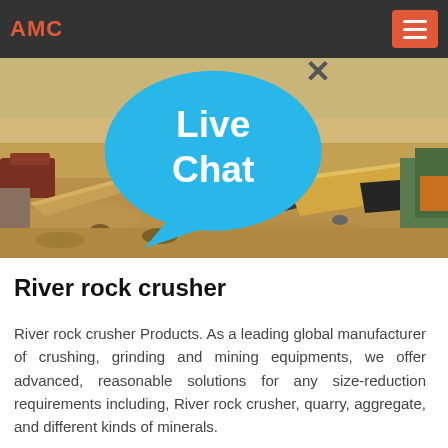AMC
[Figure (photo): Outdoor scene showing a sandy/dusty area with scattered rocks, slabs of stone, wooden planks and construction materials on the ground, resembling a quarry or mining site.]
River rock crusher
River rock crusher Products. As a leading global manufacturer of crushing, grinding and mining equipments, we offer advanced, reasonable solutions for any size-reduction requirements including, River rock crusher, quarry, aggregate, and different kinds of minerals.